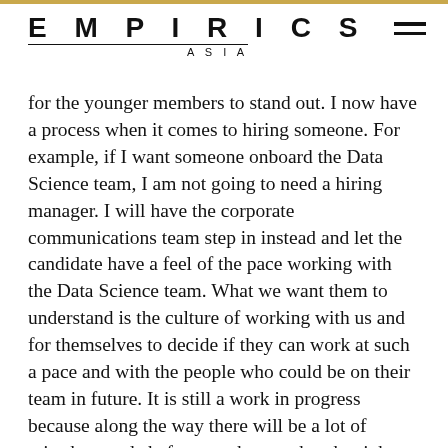EMPIRICS ASIA
for the younger members to stand out. I now have a process when it comes to hiring someone. For example, if I want someone onboard the Data Science team, I am not going to need a hiring manager. I will have the corporate communications team step in instead and let the candidate have a feel of the pace working with the Data Science team. What we want them to understand is the culture of working with us and for themselves to decide if they can work at such a pace and with the people who could be on their team in future. It is still a work in progress because along the way there will be a lot of mistakes made before you know what the right thing is to do. But that is how things are. If you want to be an entrepreneur, you can quit your previous job, but I highly recommend you join my team and we will all make it together at more than the pace where we have been.